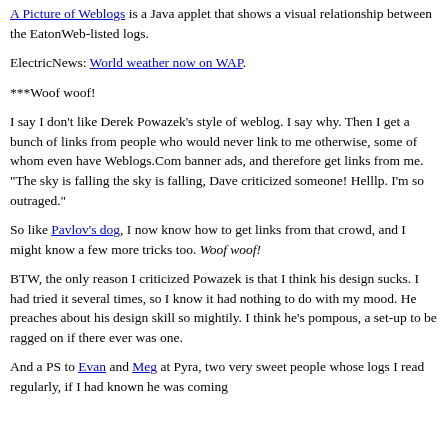A Picture of Weblogs is a Java applet that shows a visual relationship between the EatonWeb-listed logs.
ElectricNews: World weather now on WAP.
***Woof woof!
I say I don't like Derek Powazek's style of weblog. I say why. Then I get a bunch of links from people who would never link to me otherwise, some of whom even have Weblogs.Com banner ads, and therefore get links from me. "The sky is falling the sky is falling, Dave criticized someone! Helllp. I'm so outraged."
So like Pavlov's dog, I now know how to get links from that crowd, and I might know a few more tricks too. Woof woof!
BTW, the only reason I criticized Powazek is that I think his design sucks. I had tried it several times, so I know it had nothing to do with my mood. He preaches about his design skill so mightily. I think he's pompous, a set-up to be ragged on if there ever was one.
And a PS to Evan and Meg at Pyra, two very sweet people whose logs I read regularly, if I had known he was coming